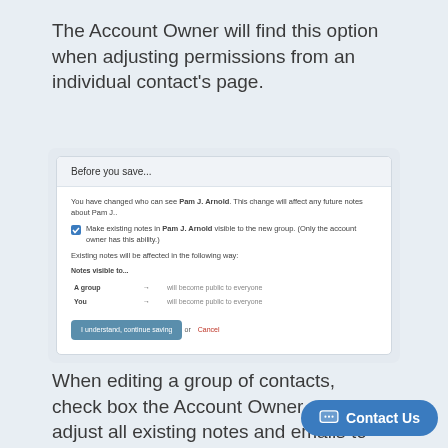The Account Owner will find this option when adjusting permissions from an individual contact's page.
[Figure (screenshot): Modal dialog titled 'Before you save...' showing a permission change notification for Pam J. Arnold with a checkbox to make existing notes visible to the new group, a table showing 'A group' and 'You' will become public to everyone, and a button 'I understand, continue saving' or Cancel.]
When editing a group of contacts, check box the Account Owner ca... adjust all existing notes and emails to match
[Figure (other): Contact Us chat button widget in bottom right corner]